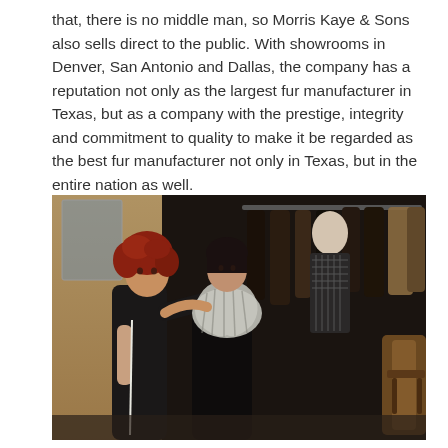that, there is no middle man, so Morris Kaye & Sons also sells direct to the public. With showrooms in Denver, San Antonio and Dallas, the company has a reputation not only as the largest fur manufacturer in Texas, but as a company with the prestige, integrity and commitment to quality to make it be regarded as the best fur manufacturer not only in Texas, but in the entire nation as well.
[Figure (photo): A woman with curly red hair fitting a fur stole or coat on another dark-haired woman inside a fur showroom. A mannequin wearing a patterned jacket is visible in the background along with racks of fur coats.]